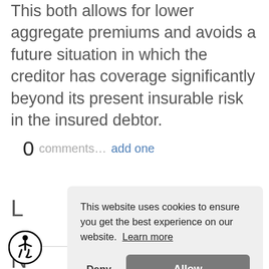This both allows for lower aggregate premiums and avoids a future situation in which the creditor has coverage significantly beyond its present insurable risk in the insured debtor.
0 comments… add one
This website uses cookies to ensure you get the best experience on our website. Learn more
Deny  Allow